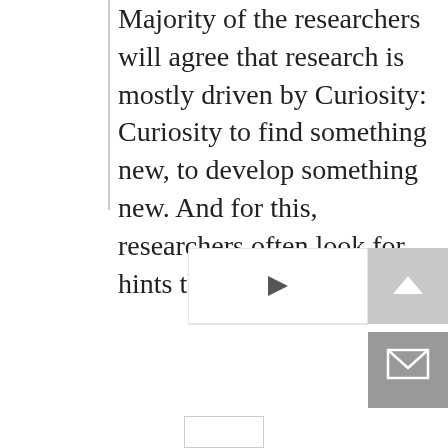Majority of the researchers will agree that research is mostly driven by Curiosity: Curiosity to find something new, to develop something new.  And for this, researchers often look for hints that [...]
READ MORE
[Figure (other): UI navigation elements: an up-arrow button (grey), a next-page arrow button (white with border), and a mail/envelope button (grey)]